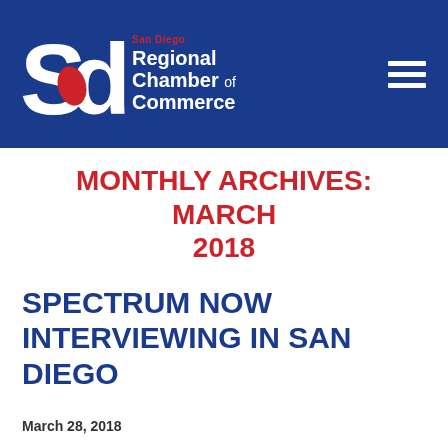[Figure (logo): San Diego Regional Chamber of Commerce logo: large 'Sd' letters in white with red oval, text 'San Diego Regional Chamber of Commerce' in white and red on blue background, with hamburger menu icon on right]
MONTHLY ARCHIVES: MARCH 2018
SPECTRUM NOW INTERVIEWING IN SAN DIEGO
March 28, 2018